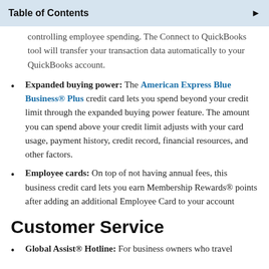Table of Contents
controlling employee spending. The Connect to QuickBooks tool will transfer your transaction data automatically to your QuickBooks account.
Expanded buying power: The American Express Blue Business® Plus credit card lets you spend beyond your credit limit through the expanded buying power feature. The amount you can spend above your credit limit adjusts with your card usage, payment history, credit record, financial resources, and other factors.
Employee cards: On top of not having annual fees, this business credit card lets you earn Membership Rewards® points after adding an additional Employee Card to your account
Customer Service
Global Assist® Hotline: For business owners who travel